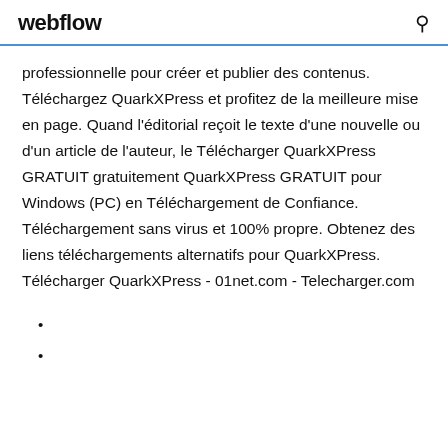webflow
professionnelle pour créer et publier des contenus. Téléchargez QuarkXPress et profitez de la meilleure mise en page. Quand l'éditorial reçoit le texte d'une nouvelle ou d'un article de l'auteur, le Télécharger QuarkXPress GRATUIT gratuitement QuarkXPress GRATUIT pour Windows (PC) en Téléchargement de Confiance. Téléchargement sans virus et 100% propre. Obtenez des liens téléchargements alternatifs pour QuarkXPress. Télécharger QuarkXPress - 01net.com - Telecharger.com